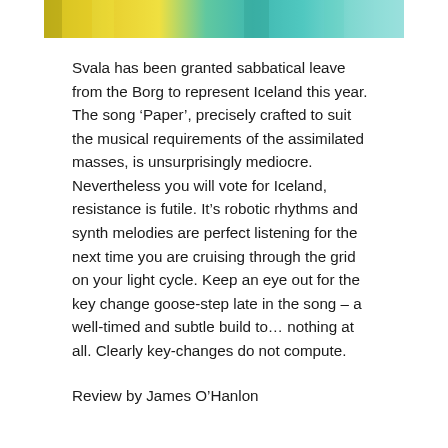[Figure (photo): Partial image at top of page showing colorful abstract or hair-like stripes in yellow, teal, and light blue/green tones.]
Svala has been granted sabbatical leave from the Borg to represent Iceland this year. The song ‘Paper’, precisely crafted to suit the musical requirements of the assimilated masses, is unsurprisingly mediocre. Nevertheless you will vote for Iceland, resistance is futile. It’s robotic rhythms and synth melodies are perfect listening for the next time you are cruising through the grid on your light cycle. Keep an eye out for the key change goose-step late in the song – a well-timed and subtle build to… nothing at all. Clearly key-changes do not compute.
Review by James O’Hanlon